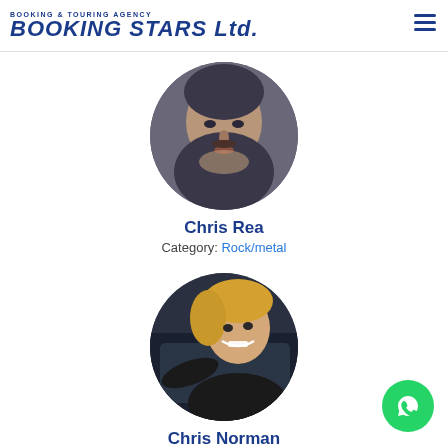BOOKING & TOURING AGENCY BOOKING STARS Ltd.
[Figure (photo): Circular portrait photo of Chris Rea, elderly man looking down]
Chris Rea
Category: Rock/metal
[Figure (photo): Circular portrait photo of Chris Norman, smiling man with blonde hair in a car]
Chris Norman
Category: Rock/metal
[Figure (photo): Partially visible circular portrait photo of a third artist (cropped at bottom)]
[Figure (other): WhatsApp chat button icon in bottom right corner]